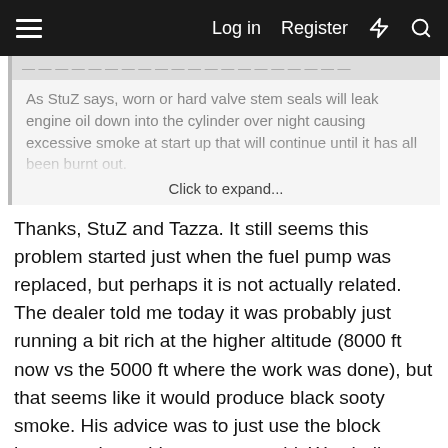Log in  Register
As StuZ says, worn or hard valve stem seals will leak engine oil down into the cylinder over night causing excessive smoke at start up that will continue until it has all been burnt out.
Click to expand...
Thanks, StuZ and Tazza. It still seems this problem started just when the fuel pump was replaced, but perhaps it is not actually related. The dealer told me today it was probably just running a bit rich at the higher altitude (8000 ft now vs the 5000 ft where the work was done), but that seems like it would produce black sooty smoke. His advice was to just use the block heater so it would not get too cold. We shall see how this turns out. I do have what are probably leaky valve seals on my gasoline pickup (140K miles) and I get blue smoke for about 2 to 3 seconds on startup. The Bobcat puts out blue smoke for 2 or 3 minutes when cold, seems a bit too long for leaky valve seals. Another Bobcat person said it was perhaps worn pistons/rings, and after a few minutes the pistons warmed up, expanded, and helped seal to the cylinders better. Seems plausible. As long as it starts